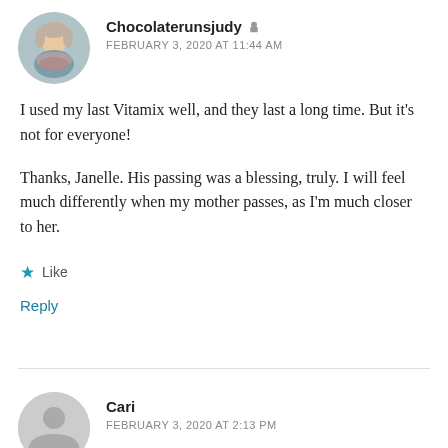Chocolaterunsjudy  [author icon]
FEBRUARY 3, 2020 AT 11:44 AM
I used my last Vitamix well, and they last a long time. But it's not for everyone!
Thanks, Janelle. His passing was a blessing, truly. I will feel much differently when my mother passes, as I'm much closer to her.
Like
Reply
Cari
FEBRUARY 3, 2020 AT 2:13 PM